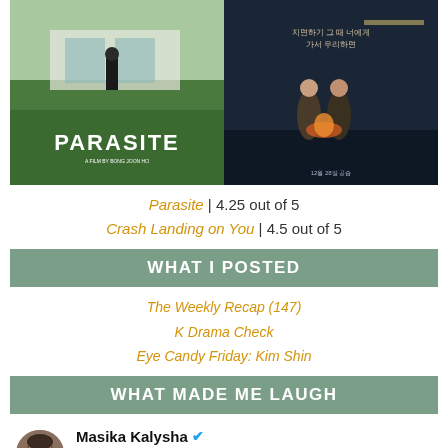[Figure (photo): Movie poster for Parasite (left) and Crash Landing on You (right) shown side by side]
Parasite | 4.25 out of 5
Crash Landing on You | 4.5 out of 5
WHAT I POSTED
The Weekly Recap (147)
K Drama Check
Eye Candy Friday: Kim Shin
WHAT MADE ME LAUGH
Masika Kalysha @masikakalysha